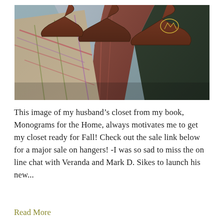[Figure (photo): Close-up photo of men's suit jackets hanging on monogrammed wooden hangers in a closet. The jackets include plaid and tweed fabrics in beige, brown, red, and blue tones.]
This image of my husband's closet from my book, Monograms for the Home, always motivates me to get my closet ready for Fall! Check out the sale link below for a major sale on hangers! -I was so sad to miss the on line chat with Veranda and Mark D. Sikes to launch his new...
Read More